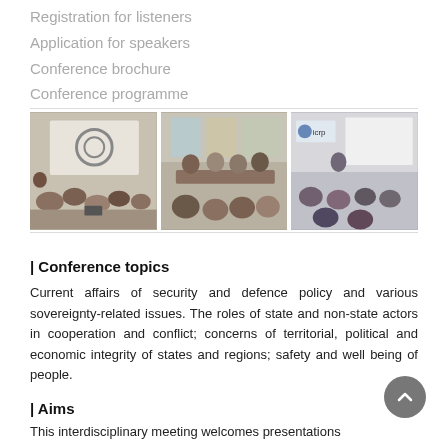Registration for listeners
Application for speakers
Conference brochure
Conference programme
[Figure (photo): Three conference photographs showing presentations and audience]
| Conference topics
Current affairs of security and defence policy and various sovereignty-related issues. The roles of state and non-state actors in cooperation and conflict; concerns of territorial, political and economic integrity of states and regions; safety and well being of people.
| Aims
This interdisciplinary meeting welcomes presentations